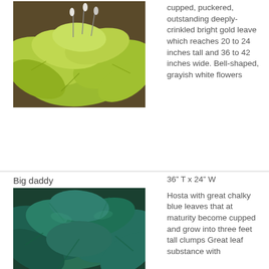[Figure (photo): Hosta plant with bright gold-green cupped and puckered leaves, showing white flowers]
cupped, puckered, outstanding deeply-crinkled bright gold leave which reaches 20 to 24 inches tall and 36 to 42 inches wide. Bell-shaped, grayish white flowers
Big daddy
36″ T x 24″ W
[Figure (photo): Hosta with large chalky blue-green cupped and wavy leaves]
Hosta with great chalky blue leaves that at maturity become cupped and grow into three feet tall clumps Great leaf substance with